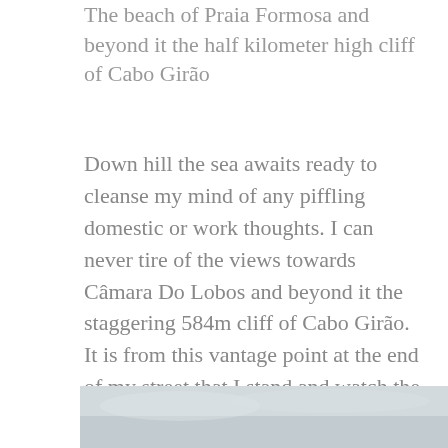The beach of Praia Formosa and beyond it the half kilometer high cliff of Cabo Girão
Down hill the sea awaits ready to cleanse my mind of any piffling domestic or work thoughts. I can never tire of the views towards Câmara Do Lobos and beyond it the staggering 584m cliff of Cabo Girão. It is from this vantage point at the end of my street that I stand and watch the sunset as often as I can. Even on days where low cloud obscures the peak of Cabo Girão it is a view that cannot be ignored.
[Figure (photo): Partial view of a coastal scene, likely showing the beach and cliff landscape near Cabo Girão, Madeira. The image is cropped at the bottom of the page showing a grey sky and coastal area.]